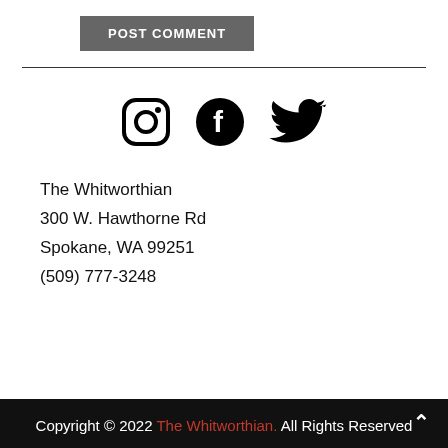[Figure (other): Gray POST COMMENT button]
[Figure (other): Social media icons: Instagram, Facebook, Twitter (black icons)]
The Whitworthian
300 W. Hawthorne Rd
Spokane, WA 99251
(509) 777-3248
Copyright © 2022 The Whitworthian. All Rights Reserved